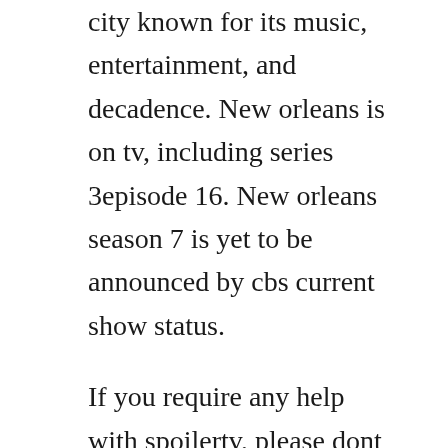city known for its music, entertainment, and decadence. New orleans is on tv, including series 3episode 16. New orleans season 7 is yet to be announced by cbs current show status.
If you require any help with spoilertv, please dont hesitate to contact us but please check the links below to see if they will help you first. New orleans an american police procedural drama television. The largest collection of tv spoilers and show information for the most popular shows on tv. New orleans